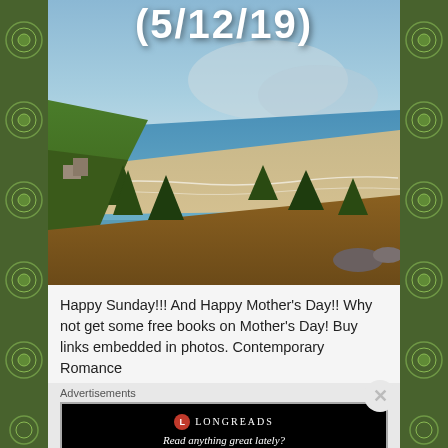[Figure (photo): Aerial/elevated coastal landscape photo showing a large sandy beach with ocean waves, green hillside with trees in foreground, white text overlay showing date (5/12/19) at top]
Happy Sunday!!! And Happy Mother's Day!! Why not get some free books on Mother's Day! Buy links embedded in photos. Contemporary Romance
Advertisements
[Figure (screenshot): Longreads advertisement banner with logo and tagline 'Read anything great lately?' on black background]